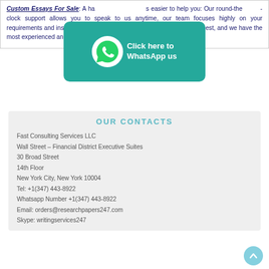Custom Essays For Sale. A has easier to help you: Our round-the-clock support allows you to speak to us anytime, our team focuses highly on your requirements and instructions, we assess their talents and only hire the best, and we have the most experienced and skilled writers. Custom Essays For Sale today!
[Figure (infographic): WhatsApp button with teal background, phone icon, and text 'Click here to WhatsApp us']
OUR CONTACTS
Fast Consulting Services LLC
Wall Street – Financial District Executive Suites
30 Broad Street
14th Floor
New York City, New York 10004
Tel: +1(347) 443-8922
Whatsapp Number +1(347) 443-8922
Email: orders@researchpapers247.com
Skype: writingservices247